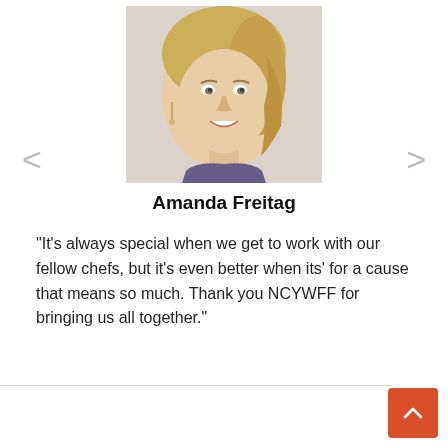[Figure (photo): Headshot of Amanda Freitag, a blonde woman with hair pulled back, smiling, wearing a dark top]
Amanda Freitag
“It’s always special when we get to work with our fellow chefs, but it’s even better when its’ for a cause that means so much. Thank you NCYWFF for bringing us all together.”